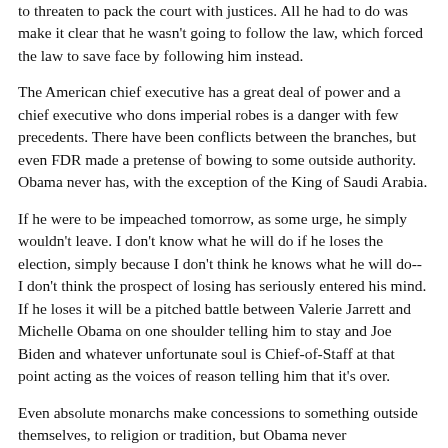...to threaten to pack the court with justices. All he had to do was make it clear that he wasn't going to follow the law, which forced the law to save face by following him instead.
The American chief executive has a great deal of power and a chief executive who dons imperial robes is a danger with few precedents. There have been conflicts between the branches, but even FDR made a pretense of bowing to some outside authority. Obama never has, with the exception of the King of Saudi Arabia.
If he were to be impeached tomorrow, as some urge, he simply wouldn't leave. I don't know what he will do if he loses the election, simply because I don't think he knows what he will do-- I don't think the prospect of losing has seriously entered his mind. If he loses it will be a pitched battle between Valerie Jarrett and Michelle Obama on one shoulder telling him to stay and Joe Biden and whatever unfortunate soul is Chief-of-Staff at that point acting as the voices of reason telling him that it's over.
Even absolute monarchs make concessions to something outside themselves, to religion or tradition, but Obama never...